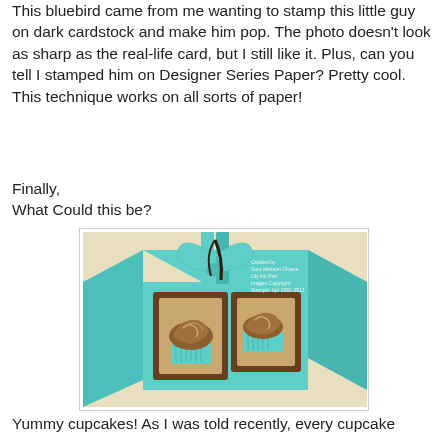This bluebird came from me wanting to stamp this little guy on dark cardstock and make him pop. The photo doesn't look as sharp as the real-life card, but I still like it. Plus, can you tell I stamped him on Designer Series Paper? Pretty cool. This technique works on all sorts of paper!
Finally,
What Could this be?
[Figure (photo): A teal/turquoise gift box with brown panels featuring cupcake decorations and a teal ribbon bow on top. The box has two visible sides, each with a brown-bordered tan panel showing a cupcake stamp motif. A watermark reads 'Created by Sara Mattson-Olivera, Lily Ink Pad, Images Copyright Stampin' Up! 1991-2011'.]
Yummy cupcakes! As I was told recently, every cupcake needs a little wisdon about Paper Motifs on them...